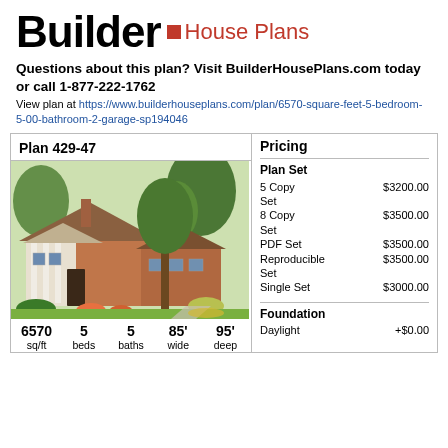Builder House Plans
Questions about this plan? Visit BuilderHousePlans.com today or call 1-877-222-1762
View plan at https://www.builderhouseplans.com/plan/6570-square-feet-5-bedroom-5-00-bathroom-2-garage-sp194046
| Plan 429-47 | Pricing |
| --- | --- |
| [house illustration] | Plan Set |
|  | 5 Copy Set   $3200.00 |
|  | 8 Copy Set   $3500.00 |
|  | PDF Set      $3500.00 |
|  | Reproducible Set  $3500.00 |
|  | Single Set   $3000.00 |
| 6570 sq/ft  5 beds  5 baths  85' wide  95' deep | Foundation |
|  | Daylight   +$0.00 |